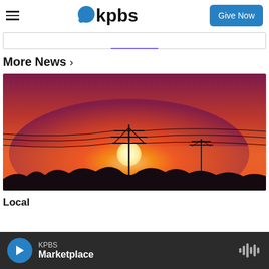KPBS — Give Now
More News ›
[Figure (photo): A dramatic red and orange sunset sky with a silhouetted power transmission tower and utility lines in the foreground, with dark tree silhouettes along the horizon.]
Local
KPBS Marketplace